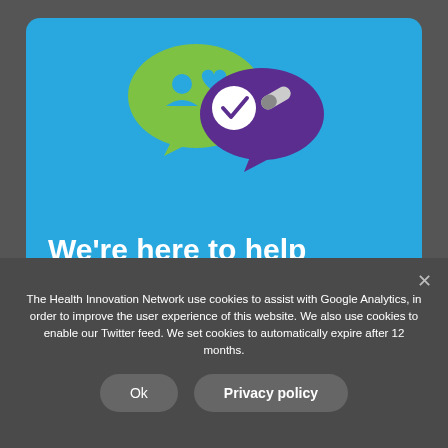[Figure (illustration): Health app illustration showing two speech bubbles: a green bubble with a person icon and heart, and a purple bubble with a pill/capsule icon, with a white checkmark badge overlapping them.]
We're here to help
Find out more about this and our
The Health Innovation Network use cookies to assist with Google Analytics, in order to improve the user experience of this website. We also use cookies to enable our Twitter feed. We set cookies to automatically expire after 12 months.
Ok
Privacy policy